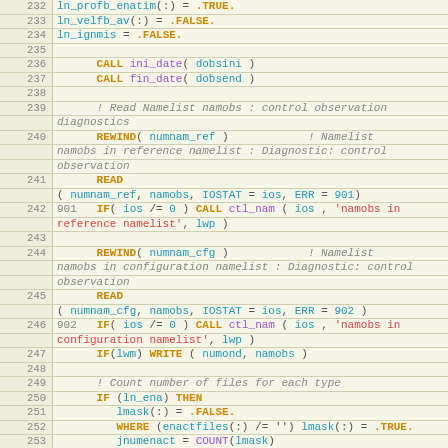Source code listing lines 232-255, Fortran code dealing with namelist reading and observation diagnostics.